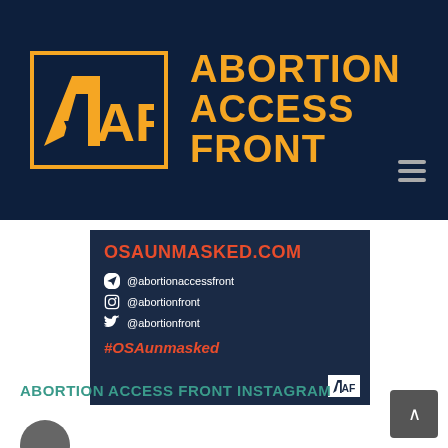[Figure (logo): Abortion Access Front logo - dark navy header with orange letter A logo in bordered box and orange text reading ABORTION ACCESS FRONT]
[Figure (screenshot): Social media card on dark blue background showing OSAUNMASKED.COM in red, social handles @abortionaccessfront (TikTok), @abortionfront (Instagram), @abortionfront (Twitter), and hashtag #OSAunmasked in red, with AAF logo in bottom right]
ABORTION ACCESS FRONT INSTAGRAM